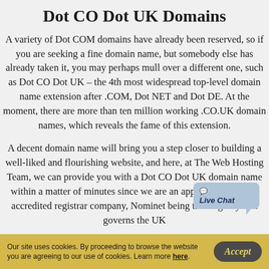Dot CO Dot UK Domains
A variety of Dot COM domains have already been reserved, so if you are seeking a fine domain name, but somebody else has already taken it, you may perhaps mull over a different one, such as Dot CO Dot UK – the 4th most widespread top-level domain name extension after .COM, Dot NET and Dot DE. At the moment, there are more than ten million working .CO.UK domain names, which reveals the fame of this extension.
A decent domain name will bring you a step closer to building a well-liked and flourishing website, and here, at The Web Hosting Team, we can provide you with a Dot CO Dot UK domain name within a matter of minutes since we are an approved Nominet-accredited registrar company, Nominet being the Registry that governs the UK
[Figure (other): Live Chat button overlay in bottom-right area]
Our site uses cookies. By proceeding to browse the website you are agreeing to our use of cookies. Learn more here.